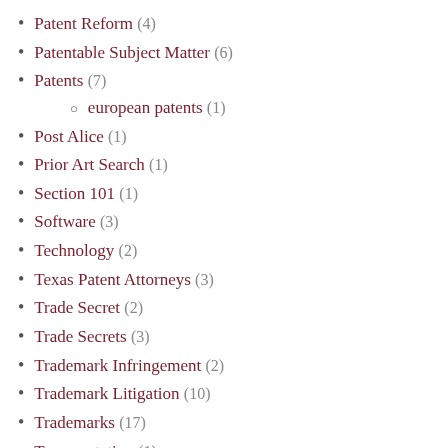Patent Reform (4)
Patentable Subject Matter (6)
Patents (7)
european patents (1)
Post Alice (1)
Prior Art Search (1)
Section 101 (1)
Software (3)
Technology (2)
Texas Patent Attorneys (3)
Trade Secret (2)
Trade Secrets (3)
Trademark Infringement (2)
Trademark Litigation (10)
Trademarks (17)
Transportation (1)
U.S. Patent and Trademark Office (10)
Uncategorized (11)